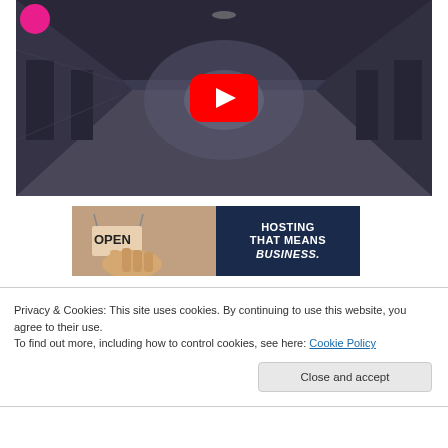[Figure (screenshot): YouTube video thumbnail showing an abandoned hospital corridor with a red YouTube play button overlay and a pink circular badge in the top-left corner]
[Figure (screenshot): Advertisement banner showing 'OPEN' sign on left side and text 'HOSTING THAT MEANS BUSINESS.' on dark navy blue background]
Privacy & Cookies: This site uses cookies. By continuing to use this website, you agree to their use.
To find out more, including how to control cookies, see here: Cookie Policy
Close and accept